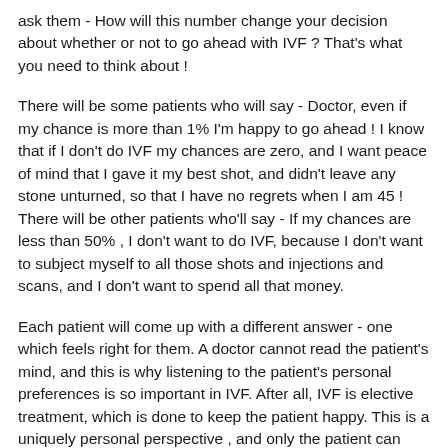ask them - How will this number change your decision about whether or not to go ahead with IVF ? That's what you need to think about !
There will be some patients who will say - Doctor, even if my chance is more than 1% I'm happy to go ahead ! I know that if I don't do IVF my chances are zero, and I want peace of mind that I gave it my best shot, and didn't leave any stone unturned, so that I have no regrets when I am 45 ! There will be other patients who'll say - If my chances are less than 50% , I don't want to do IVF, because I don't want to subject myself to all those shots and injections and scans, and I don't want to spend all that money.
Each patient will come up with a different answer - one which feels right for them. A doctor cannot read the patient's mind, and this is why listening to the patient's personal preferences is so important in IVF. After all, IVF is elective treatment, which is done to keep the patient happy. This is a uniquely personal perspective , and only the patient can decide what's right for them - not the doctor.